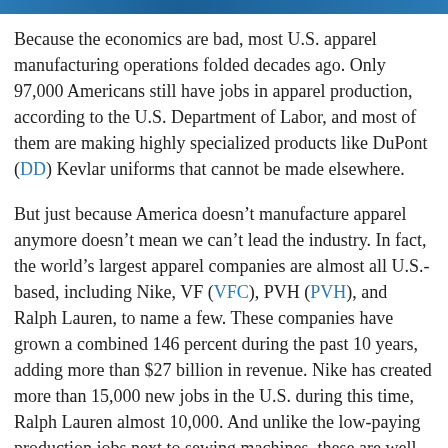[Figure (other): Blue banner image at the top of the page]
Because the economics are bad, most U.S. apparel manufacturing operations folded decades ago. Only 97,000 Americans still have jobs in apparel production, according to the U.S. Department of Labor, and most of them are making highly specialized products like DuPont (DD) Kevlar uniforms that cannot be made elsewhere.
But just because America doesn’t manufacture apparel anymore doesn’t mean we can’t lead the industry. In fact, the world’s largest apparel companies are almost all U.S.-based, including Nike, VF (VFC), PVH (PVH), and Ralph Lauren, to name a few. These companies have grown a combined 146 percent during the past 10 years, adding more than $27 billion in revenue. Nike has created more than 15,000 new jobs in the U.S. during this time, Ralph Lauren almost 10,000. And unlike the low-paying production jobs next to sewing machines, these are well-paying jobs in